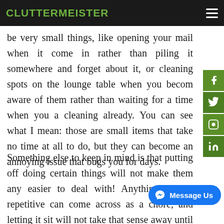CLUTTERMEISTER
be very small things, like opening your mail when it comes in rather than piling it somewhere and forget about it, or cleaning spots on the lounge table when you become aware of them rather than waiting for a time when you are cleaning already. You can see what I mean: those are small items that take no time at all to do, but they can become an annoying issue that bugs you for days.
Something else to keep in mind is that putting off doing certain things will not make them any easier to deal with! Anything that is repetitive can come across as a chore, and letting it sit will not take that sense away until it is finally done. On the other hand, if you do it right away, it will turn into a long time of not having to worry at all about it